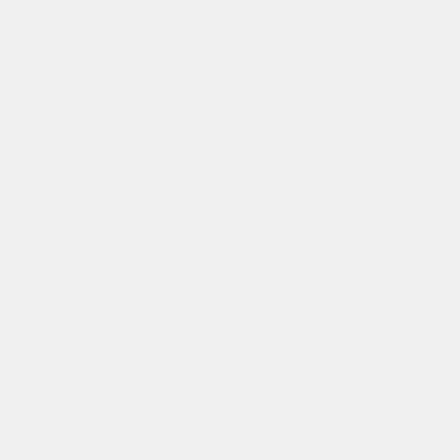Download the file for your platform.
Download the file for your platform.
Revision as of 22:51, 27 April 2010
<<html(
Penn TotalRecall
)>>
An easy-to-use tool for quickly annotating audio files.
<<html(<img src="
[Figure (screenshot): Screenshot of Penn TotalRecall application interface showing a timeline with timestamp 4.499s and a SHELL label column. The window has a Mac-style title bar with red, yellow, and green traffic light buttons.]